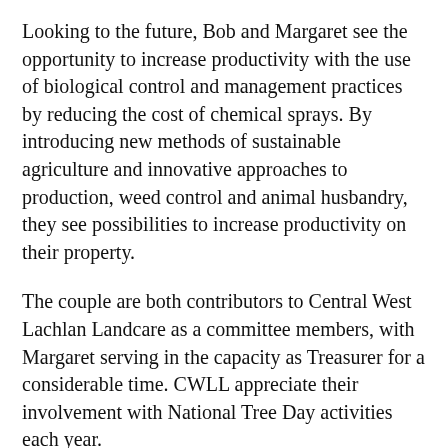Looking to the future, Bob and Margaret see the opportunity to increase productivity with the use of biological control and management practices by reducing the cost of chemical sprays. By introducing new methods of sustainable agriculture and innovative approaches to production, weed control and animal husbandry, they see possibilities to increase productivity on their property.
The couple are both contributors to Central West Lachlan Landcare as a committee members, with Margaret serving in the capacity as Treasurer for a considerable time. CWLL appreciate their involvement with National Tree Day activities each year.
Bob has been a contributor to the Memorial Hill restoration project, which has been very fulfilling